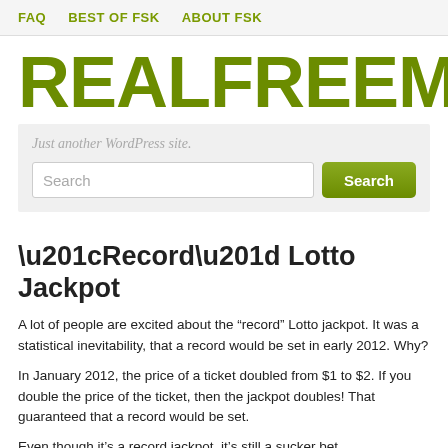FAQ   BEST OF FSK   ABOUT FSK
REALFREEMARKET
Just another WordPress site.
"Record" Lotto Jackpot
A lot of people are excited about the “record” Lotto jackpot.  It was a statistical inevitability, that a record would be set in early 2012.  Why?
In January 2012, the price of a ticket doubled from $1 to $2.  If you double the price of the ticket, then the jackpot doubles!  That guaranteed that a record would be set.
Even though it’s a record jackpot, it’s still a sucker bet.
The “value” of a lottery ticket is 50% or less than 50% of the ticket price.